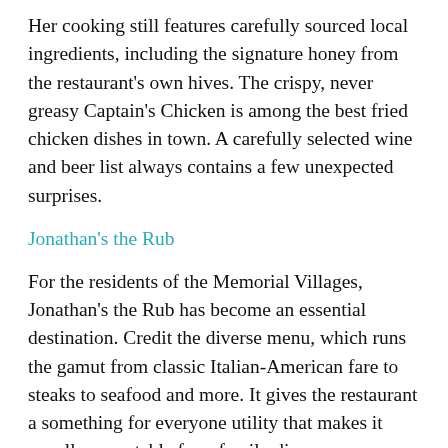Her cooking still features carefully sourced local ingredients, including the signature honey from the restaurant's own hives. The crispy, never greasy Captain's Chicken is among the best fried chicken dishes in town. A carefully selected wine and beer list always contains a few unexpected surprises.
Jonathan's the Rub
For the residents of the Memorial Villages, Jonathan's the Rub has become an essential destination. Credit the diverse menu, which runs the gamut from classic Italian-American fare to steaks to seafood and more. It gives the restaurant a something for everyone utility that makes it equally acceptable for a family dinner or a more extravagant affair with a favorite bottle of wine (BYOB!).
Chef owner Jonathan Levine and his family handle the...